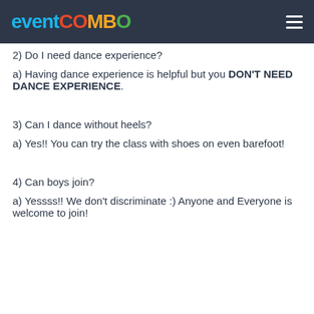EVENTCOMBO
2) Do I need dance experience?
a) Having dance experience is helpful but you DON'T NEED DANCE EXPERIENCE.
3) Can I dance without heels?
a) Yes!! You can try the class with shoes on even barefoot!
4) Can boys join?
a) Yessss!! We don't discriminate :) Anyone and Everyone is welcome to join!